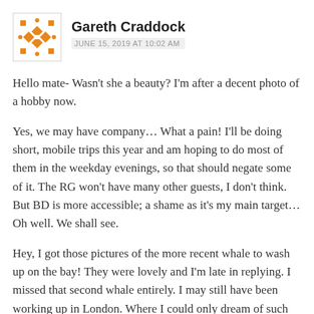Gareth Craddock — JUNE 15, 2019 AT 10:02 AM
Hello mate- Wasn't she a beauty? I'm after a decent photo of a hobby now.
Yes, we may have company… What a pain! I'll be doing short, mobile trips this year and am hoping to do most of them in the weekday evenings, so that should negate some of it. The RG won't have many other guests, I don't think. But BD is more accessible; a shame as it's my main target… Oh well. We shall see.
Hey, I got those pictures of the more recent whale to wash up on the bay! They were lovely and I'm late in replying. I missed that second whale entirely. I may still have been working up in London. Where I could only dream of such things… I'll email shortly with some tactical talk.